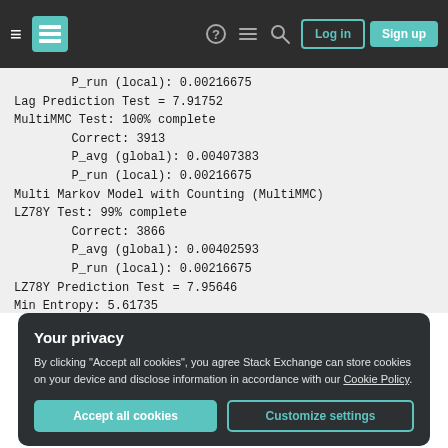Stack Exchange navigation bar with Log in and Sign up buttons
P_run (local): 0.00216675
Lag Prediction Test = 7.91752
MultiMMC Test: 100% complete
    Correct: 3913
    P_avg (global): 0.00407383
    P_run (local): 0.00216675
Multi Markov Model with Counting (MultiMMC)
LZ78Y Test: 99% complete
    Correct: 3866
    P_avg (global): 0.00402593
    P_run (local): 0.00216675
LZ78Y Prediction Test = 7.95646
Min Entropy: 5.61735
Your privacy
By clicking "Accept all cookies", you agree Stack Exchange can store cookies on your device and disclose information in accordance with our Cookie Policy.
computer just running software can generate real